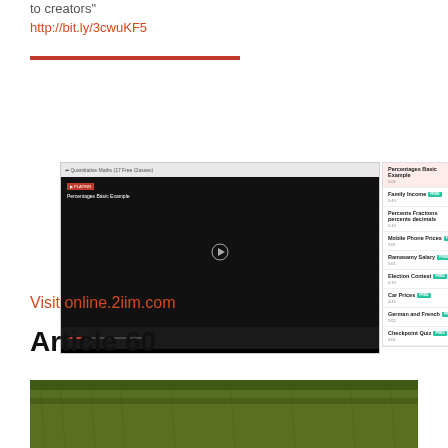to creators"
http://bit.ly/3cwuKF5
[Figure (screenshot): Screenshot of an online math course video player showing 'Percentages Basic Example' with a course sidebar listing topics including Family Income, Percents Fractions percents decimals, Mobile Phone Prices, Ramasamy Salary, Election Contest, Car Prices, German and French, Checkpoint Quiz.]
Visit online.2iim.com
Article 60
[Figure (photo): Photo of grass/turf ground]